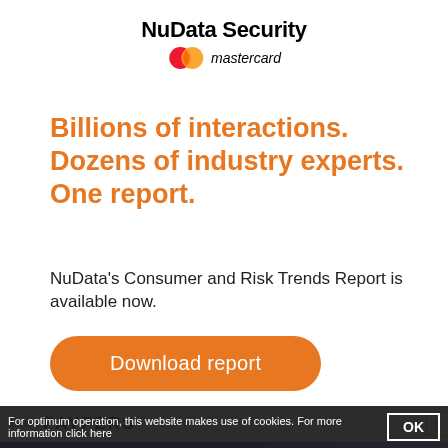[Figure (logo): NuData Security logo with Mastercard branding]
Billions of interactions. Dozens of industry experts. One report.
NuData's Consumer and Risk Trends Report is available now.
[Figure (other): Download report button (orange rounded rectangle)]
[Figure (other): The Paypers advertisement banner with 'Explore Timely eCommerce Insights From France ACI Worldwide' text and close button]
For optimum operation, this website makes use of cookies. For more information click here
[Figure (other): OK button for cookie consent]